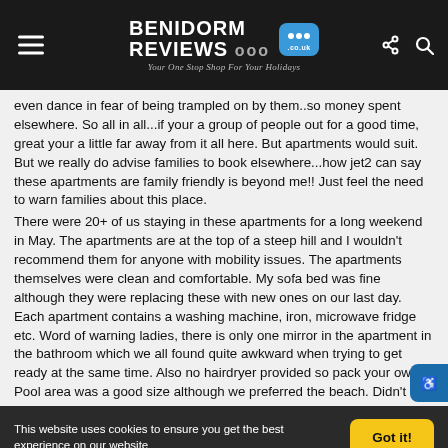Benidorm Reviews .co.uk - Your One Stop Shop For Your Holidays
even dance in fear of being trampled on by them..so money spent elsewhere. So all in all...if your a group of people out for a good time, great your a little far away from it all here. But apartments would suit. But we really do advise families to book elsewhere...how jet2 can say these apartments are family friendly is beyond me!! Just feel the need to warn families about this place. There were 20+ of us staying in these apartments for a long weekend in May. The apartments are at the top of a steep hill and I wouldn't recommend them for anyone with mobility issues. The apartments themselves were clean and comfortable. My sofa bed was fine although they were replacing these with new ones on our last day. Each apartment contains a washing machine, iron, microwave fridge etc. Word of warning ladies, there is only one mirror in the apartment in the bathroom which we all found quite awkward when trying to get ready at the same time. Also no hairdryer provided so pack your own. Pool area was a good size although we preferred the beach. Didn't
This website uses cookies to ensure you get the best experience on our website
Got it!